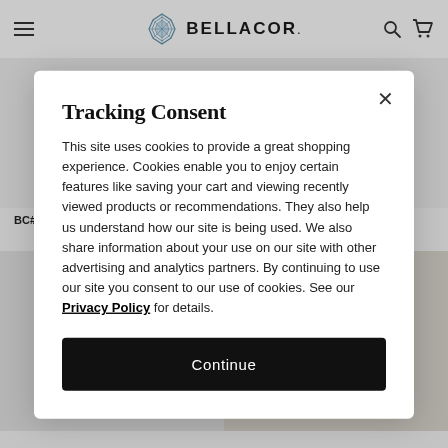BELLACOR.
BC# 2398612
BC# 2309765
Tracking Consent
This site uses cookies to provide a great shopping experience. Cookies enable you to enjoy certain features like saving your cart and viewing recently viewed products or recommendations. They also help us understand how our site is being used. We also share information about your use on our site with other advertising and analytics partners. By continuing to use our site you consent to our use of cookies. See our Privacy Policy for details.
Continue